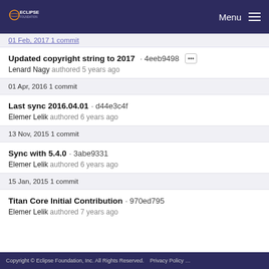Eclipse Foundation — Menu
01 Feb, 2017 1 commit
Updated copyright string to 2017 · 4eeb9498
Lenard Nagy authored 5 years ago
01 Apr, 2016 1 commit
Last sync 2016.04.01 · d44e3c4f
Elemer Lelik authored 6 years ago
13 Nov, 2015 1 commit
Sync with 5.4.0 · 3abe9331
Elemer Lelik authored 6 years ago
15 Jan, 2015 1 commit
Titan Core Initial Contribution · 970ed795
Elemer Lelik authored 7 years ago
Copyright © Eclipse Foundation, Inc. All Rights Reserved.   Privacy Policy …